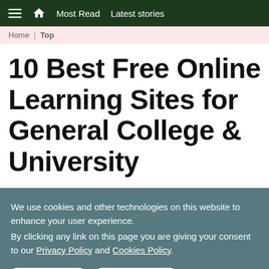☰ 🏠 Most Read  Latest stories
Home | Top
10 Best Free Online Learning Sites for General College & University
We use cookies and other technologies on this website to enhance your user experience. By clicking any link on this page you are giving your consent to our Privacy Policy and Cookies Policy.
Ok I Agree  Learn More